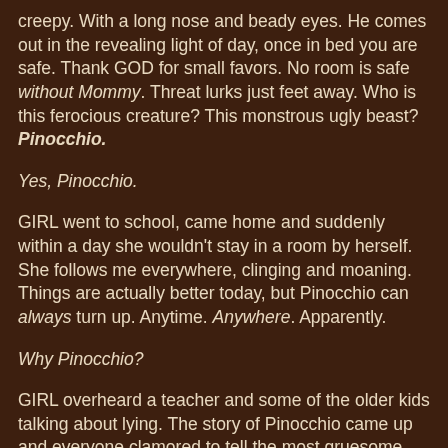creepy. With a long nose and beady eyes. He comes out in the revealing light of day, once in bed you are safe. Thank GOD for small favors. No room is safe without Mommy. Threat lurks just feet away. Who is this ferocious creature? This monstrous ugly beast?
Pinocchio.
Yes, Pinocchio.
GIRL went to school, came home and suddenly within a day she wouldn't stay in a room by herself. She follows me everywhere, clinging and moaning. Things are actually better today, but Pinocchio can always turn up. Anytime. Anywhere. Apparently.
Why Pinocchio?
GIRL overheard a teacher and some of the older kids talking about lying. The story of Pinocchio came up and everyone clamored to tell the most gruesome part of the story - depending on your interpretation, that could be donkey ears, a whale or a puppet turning into a boy. Or your nose getting